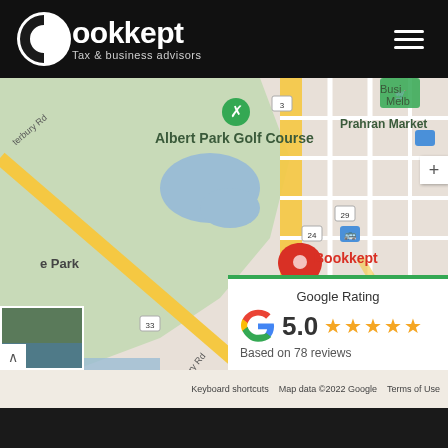[Figure (logo): Bookkept logo - white circle with C/B letterform, text 'Bookkept' in white, 'Tax & business advisors' in grey, on black background with hamburger menu icon]
[Figure (map): Google Maps screenshot showing Albert Park Golf Course, St Kilda West, Catani Gardens, Windsor, Jewish Museum of Australia, Prahran Market areas in Melbourne Australia. Red map pin labeled 'Bookkept'. Roads shown with yellow and white lines on green/grey background.]
Google Rating
5.0
Based on 78 reviews